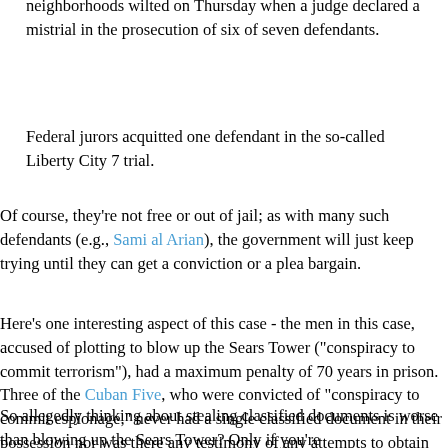neighborhoods wilted on Thursday when a judge declared a mistrial in the prosecution of six of seven defendants.
Federal jurors acquitted one defendant in the so-called Liberty City 7 trial.
Of course, they're not free or out of jail; as with many such defendants (e.g., Sami al Arian), the government will just keep trying until they can get a conviction or a plea bargain.
Here's one interesting aspect of this case - the men in this case, accused of plotting to blow up the Sears Tower ("conspiracy to commit terrorism"), had a maximum penalty of 70 years in prison. Three of the Cuban Five, who were convicted of "conspiracy to commit espionage," never had a single classified document in their possession nor was there any testimony of any attempts to obtain any, yet they were sentenced to life in prison (and once again, a reminder that there is no parole in the Federal prison system; life is life).
So allegedly thinking about stealing classified documents is worse than blowing up the Sears Tower? Only if you're